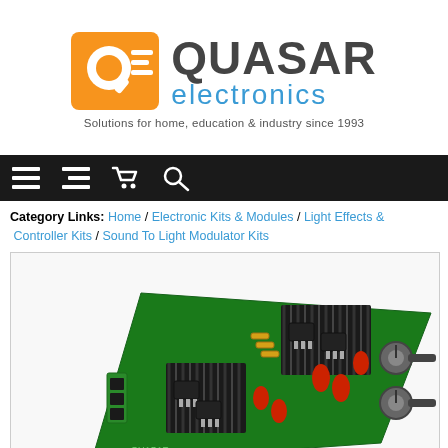[Figure (logo): Quasar Electronics logo with orange QE icon and text QUASAR in dark grey and electronics in blue, tagline: Solutions for home, education & industry since 1993]
[Figure (infographic): Black navigation bar with white icons: hamburger menu (two styles) and shopping cart and magnifying glass search icon]
Category Links: Home / Electronic Kits & Modules / Light Effects & Controller Kits / Sound To Light Modulator Kits
[Figure (photo): Photo of a green PCB circuit board with black heat sinks, red capacitors, potentiometers/knobs on the right side, and various electronic components - a Sound To Light Modulator Kit]